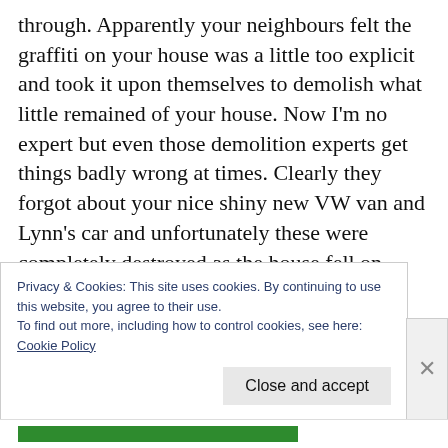through. Apparently your neighbours felt the graffiti on your house was a little too explicit and took it upon themselves to demolish what little remained of your house. Now I'm no expert but even those demolition experts get things badly wrong at times. Clearly they forgot about your nice shiny new VW van and Lynn's car and unfortunately these were completely destroyed as the house fell on them.......
On a positive note.... due to safety concerns the Council have removed what remained of your
Privacy & Cookies: This site uses cookies. By continuing to use this website, you agree to their use.
To find out more, including how to control cookies, see here:
Cookie Policy
Close and accept